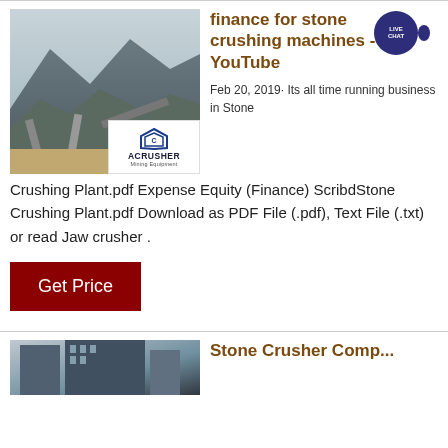[Figure (photo): Stone crushing plant with mountains in background, with ACrusher Mining Equipment logo overlay]
finance for stone crushing machines - YouTube
Feb 20, 2019· Its all time running business in Stone Crushing Plant.pdf Expense Equity (Finance) ScribdStone Crushing Plant.pdf Download as PDF File (.pdf), Text File (.txt) or read Jaw crusher .
Get Price
[Figure (photo): Stone crusher building exterior photo]
Stone Crusher Comp...